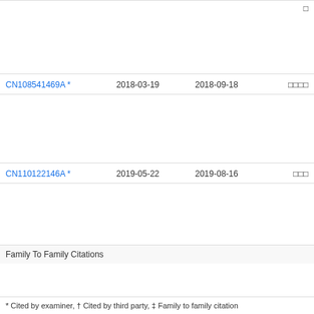| Patent | Filing Date | Publication Date | Assignee |
| --- | --- | --- | --- |
| CN108541469A * | 2018-03-19 | 2018-09-18 | □□□□ |
| CN110122146A * | 2019-05-22 | 2019-08-16 | □□□ |
Family To Family Citations
* Cited by examiner, † Cited by third party, ‡ Family to family citation